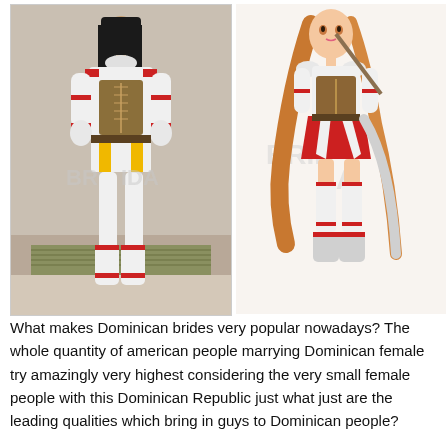[Figure (photo): Side-by-side comparison: left photo shows a person in a cosplay costume (white, red, and brown fantasy outfit with white boots), right shows an anime illustration of a female character in a matching white and red fantasy costume with long brown hair.]
What makes Dominican brides very popular nowadays? The whole quantity of american people marrying Dominican female try amazingly very highest considering the very small female people with this Dominican Republic just what just are the leading qualities which bring in guys to Dominican people?